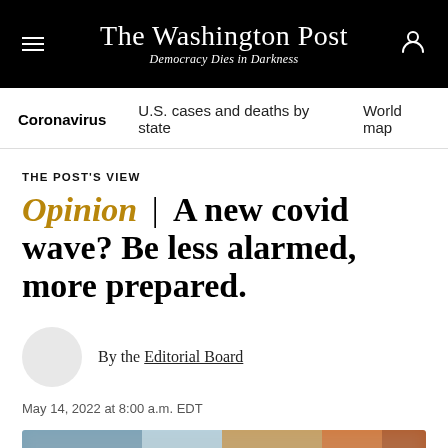The Washington Post — Democracy Dies in Darkness
Coronavirus | U.S. cases and deaths by state | World map
THE POST'S VIEW
Opinion | A new covid wave? Be less alarmed, more prepared.
By the Editorial Board
May 14, 2022 at 8:00 a.m. EDT
[Figure (photo): Blurred/out-of-focus photograph at the bottom of the article page]